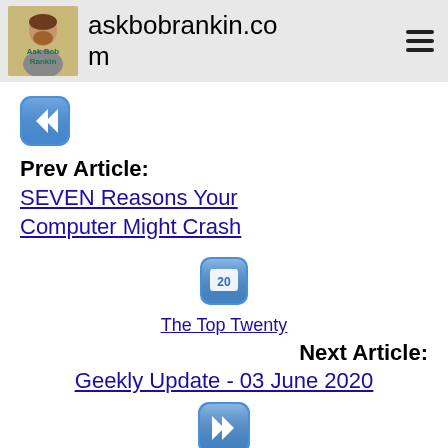askbobrankin.com
[Figure (other): Rewind/back button icon (blue rounded square with double left arrow)]
Prev Article:
SEVEN Reasons Your Computer Might Crash
[Figure (other): Top Twenty calendar icon (blue rounded square with number 20)]
The Top Twenty
Next Article:
Geekly Update - 03 June 2020
[Figure (other): Fast forward/next button icon (blue rounded square with double right arrow)]
Most recent comments on "Your SEVEN Point Tuneup For Hacker